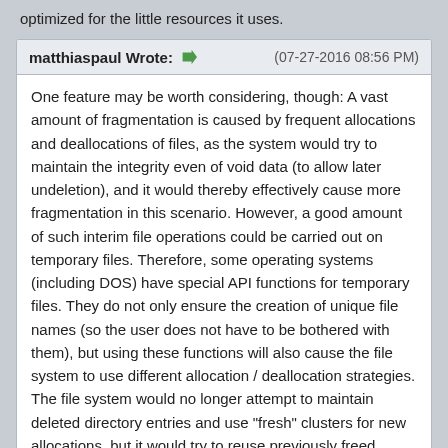optimized for the little resources it uses.
matthiaspaul Wrote: ➡ (07-27-2016 08:56 PM)
One feature may be worth considering, though: A vast amount of fragmentation is caused by frequent allocations and deallocations of files, as the system would try to maintain the integrity even of void data (to allow later undeletion), and it would thereby effectively cause more fragmentation in this scenario. However, a good amount of such interim file operations could be carried out on temporary files. Therefore, some operating systems (including DOS) have special API functions for temporary files. They do not only ensure the creation of unique file names (so the user does not have to be bothered with them), but using these functions will also cause the file system to use different allocation / deallocation strategies. The file system would no longer attempt to maintain deleted directory entries and use "fresh" clusters for new allocations, but it would try to reuse previously freed entries.

Something like this could be implemented in newRPL as well. On the command line there could be a number of "reserved file names" which the system would recognize as temporary files. The on-disk file names could use a special pattern so that the system can recognize them as temporary files (even if they are